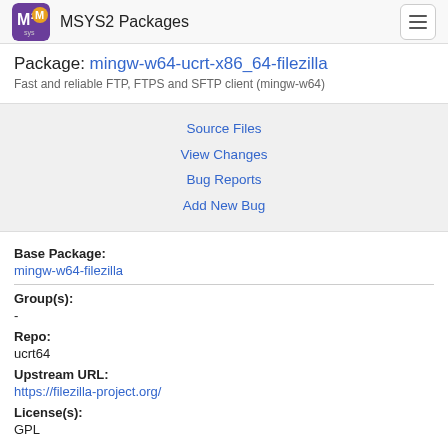MSYS2 Packages
Package: mingw-w64-ucrt-x86_64-filezilla
Fast and reliable FTP, FTPS and SFTP client (mingw-w64)
Source Files
View Changes
Bug Reports
Add New Bug
Base Package:
mingw-w64-filezilla
Group(s):
-
Repo:
ucrt64
Upstream URL:
https://filezilla-project.org/
License(s):
GPL